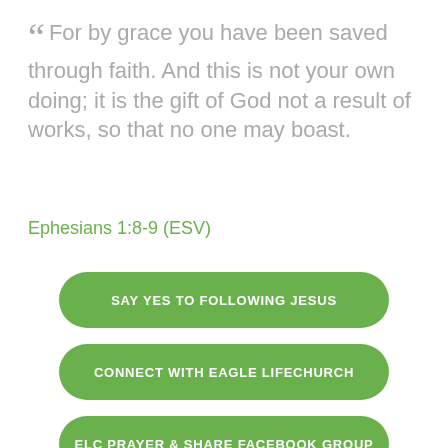“ For by grace you have been saved through faith. And this is not your own doing; it is the gift of God not a result of works, so that no one may boast.
Ephesians 1:8-9 (ESV)
SAY YES TO FOLLOWING JESUS
CONNECT WITH EAGLE LIFECHURCH
ELC PRAYER & SHARE FACEBOOK GROUP